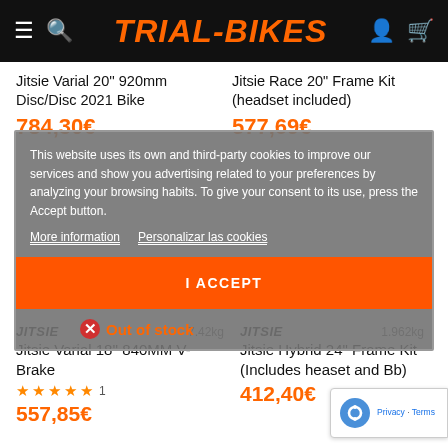TRIAL-BIKES
Jitsie Varial 20'' 920mm Disc/Disc 2021 Bike
784,30€
Jitsie Race 20" Frame Kit (headset included)
577,69€
This website uses its own and third-party cookies to improve our services and show you advertising related to your preferences by analyzing your browsing habits. To give your consent to its use, press the Accept button.
More information  Personalizar las cookies
I ACCEPT
Out of stock
JITSIE  7.42kg
Jitsie Varial 18'' 840MM V-Brake
★★★★★ 1
557,85€
JITSIE  1.962kg
Jitsie Hybrid 24" Frame Kit (Includes heaset and Bb)
412,40€